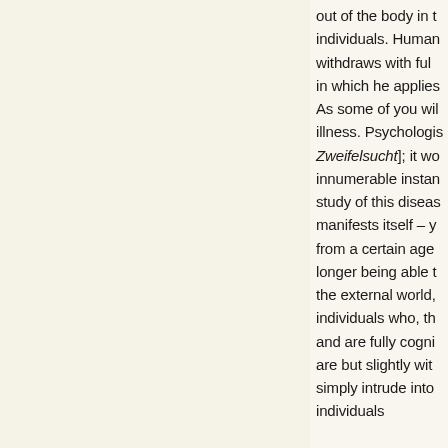out of the body in t individuals. Human withdraws with ful in which he applies As some of you wil illness. Psychologis Zweifelsucht]; it wo innumerable instan study of this diseas manifests itself – y from a certain age longer being able t the external world, individuals who, th and are fully cogni are but slightly wit simply intrude into individuals